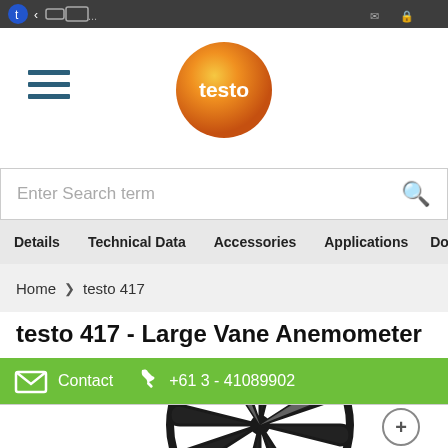[Figure (screenshot): Mobile device status bar with icons]
[Figure (logo): Testo orange sphere logo with white 'testo' text]
Enter Search term
Details  Technical Data  Accessories  Applications  Downlo
Home > testo 417
testo 417 - Large Vane Anemometer
Contact  +61 3 - 41089902
[Figure (photo): Large vane anemometer product image - black fan wheel]